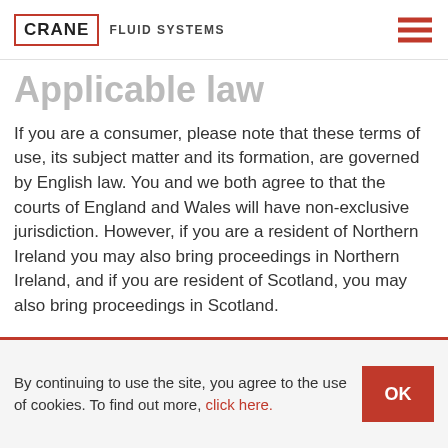CRANE FLUID SYSTEMS
Applicable law
If you are a consumer, please note that these terms of use, its subject matter and its formation, are governed by English law. You and we both agree to that the courts of England and Wales will have non-exclusive jurisdiction. However, if you are a resident of Northern Ireland you may also bring proceedings in Northern Ireland, and if you are resident of Scotland, you may also bring proceedings in Scotland.
If you are a business, these terms of use, its
By continuing to use the site, you agree to the use of cookies. To find out more, click here.